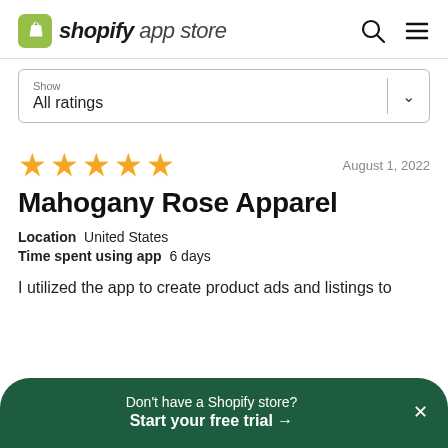shopify app store
Show
All ratings
[Figure (other): 5 gold star rating]
August 1, 2022
Mahogany Rose Apparel
Location  United States
Time spent using app  6 days
I utilized the app to create product ads and listings to
Don't have a Shopify store?
Start your free trial →